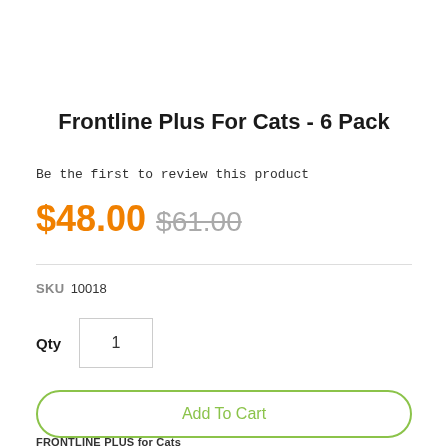Frontline Plus For Cats - 6 Pack
Be the first to review this product
$48.00 $61.00
SKU 10018
Qty 1
Add To Cart
FRONTLINE PLUS for Cats...